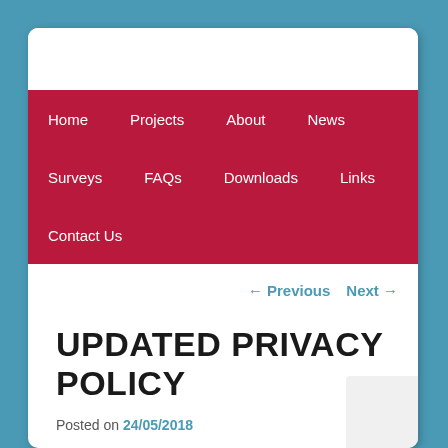Home  Projects  About  News  Surveys  FAQs  Downloads  Links  Contact Us
← Previous   Next →
UPDATED PRIVACY POLICY
Posted on 24/05/2018